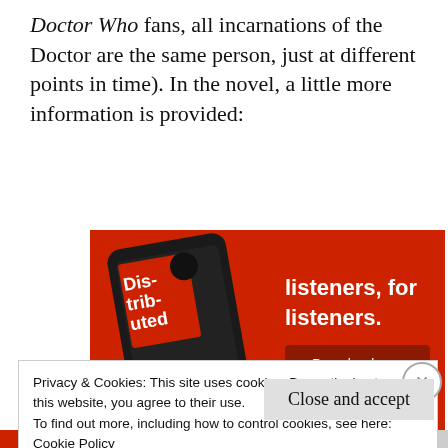Doctor Who fans, all incarnations of the Doctor are the same person, just at different points in time). In the novel, a little more information is provided:
[Figure (photo): Advertisement banner showing a smartphone displaying a podcast app with 'Distributed' podcast cover, on a red background with text 'listeners, for listeners.' and a 'Download now' button.]
Privacy & Cookies: This site uses cookies. By continuing to use this website, you agree to their use.
To find out more, including how to control cookies, see here: Cookie Policy
Close and accept